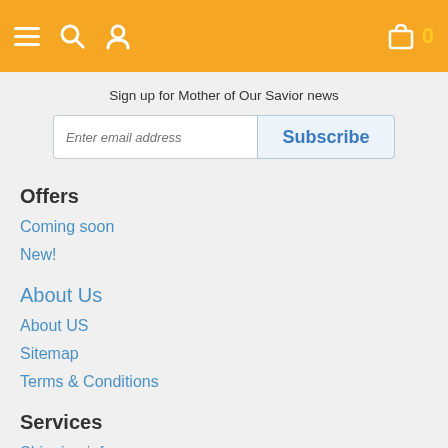Navigation bar with hamburger menu, search, user, cart (0)
Sign up for Mother of Our Savior news
Enter email address | Subscribe
Offers
Coming soon
New!
About Us
About US
Sitemap
Terms & Conditions
Services
Shipping info
Contact us